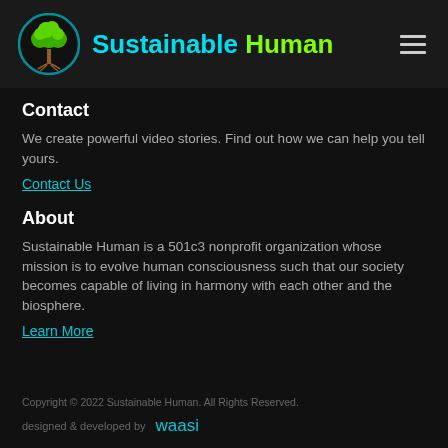Sustainable Human
Contact
We create powerful video stories. Find out how we can help you tell yours.
Contact Us
About
Sustainable Human is a 501c3 nonprofit organization whose mission is to evolve human consciousness such that our society becomes capable of living in harmony with each other and the biosphere.
Learn More
Copyright © 2022 Sustainable Human. All Rights Reserved.
designed & developed by waasi